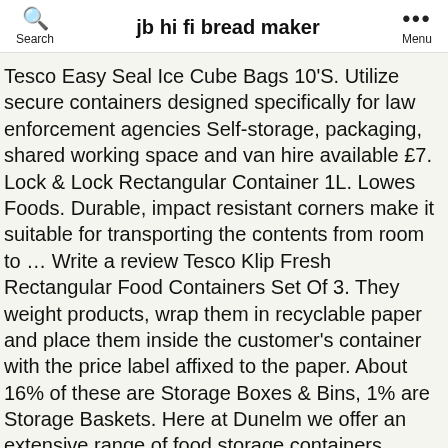Search | jb hi fi bread maker | Menu
Tesco Easy Seal Ice Cube Bags 10'S. Utilize secure containers designed specifically for law enforcement agencies Self-storage, packaging, shared working space and van hire available £7. Lock & Lock Rectangular Container 1L. Lowes Foods. Durable, impact resistant corners make it suitable for transporting the contents from room to … Write a review Tesco Klip Fresh Rectangular Food Containers Set Of 3. They weight products, wrap them in recyclable paper and place them inside the customer's container with the price label affixed to the paper. About 16% of these are Storage Boxes & Bins, 1% are Storage Baskets. Here at Dunelm we offer an extensive range of food storage containers. Delivery 7 days a week. £6. Quantity. Back Food Containers (100) 100 products. Remington Store-It-All Tote Storage Bin is the container you opt for when you've got important things to store and no puny, small-change storage bin will do. Coastal Stripes Navy Blue Kitchen Canister. Lock & Lock